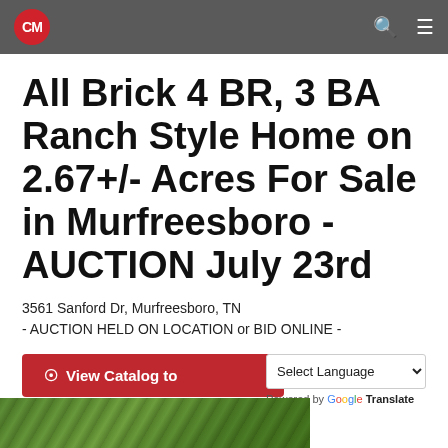CM [logo] [search icon] [menu icon]
All Brick 4 BR, 3 BA Ranch Style Home on 2.67+/- Acres For Sale in Murfreesboro - AUCTION July 23rd
3561 Sanford Dr, Murfreesboro, TN
- AUCTION HELD ON LOCATION or BID ONLINE -
View Catalog to
Select Language | Powered by Google Translate
[Figure (photo): Partial photo of a tree/home exterior at bottom of page]